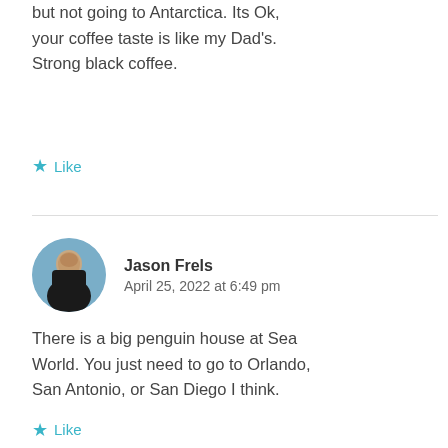but not going to Antarctica. Its Ok, your coffee taste is like my Dad's. Strong black coffee.
★ Like
Jason Frels
April 25, 2022 at 6:49 pm
[Figure (photo): Circular avatar photo of Jason Frels at a beach]
There is a big penguin house at Sea World. You just need to go to Orlando, San Antonio, or San Diego I think.
★ Like